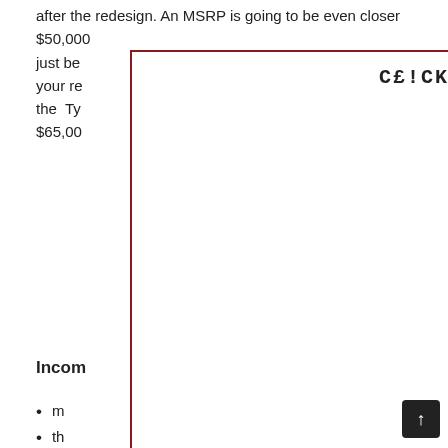after the redesign. An MSRP is going to be even closer $50,000 just be [image overlay] ms for your re [image overlay] vith all the Ty [image overlay] about $65,00
[Figure (other): Image placeholder overlay with text 'CE!CK !M4GE TO CE0$E' in bold monospace, bordered in dark red]
Incom
m
th
H
w
до
20
ch
al
When will the 2023 chevy Silverado a BBC available (3)